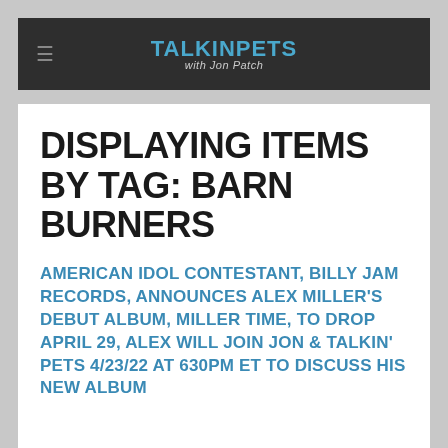TalkinPets with Jon Patch
DISPLAYING ITEMS BY TAG: BARN BURNERS
AMERICAN IDOL CONTESTANT, BILLY JAM RECORDS, ANNOUNCES ALEX MILLER'S DEBUT ALBUM, MILLER TIME, TO DROP APRIL 29, ALEX WILL JOIN JON & TALKIN' PETS 4/23/22 AT 630PM ET TO DISCUSS HIS NEW ALBUM